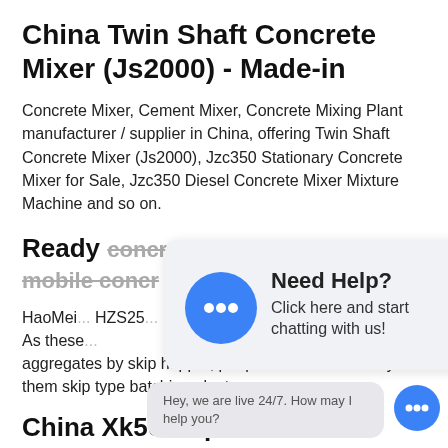China Twin Shaft Concrete Mixer (Js2000) - Made-in
Concrete Mixer, Cement Mixer, Concrete Mixing Plant manufacturer / supplier in China, offering Twin Shaft Concrete Mixer (Js2000), Jzc350 Stationary Concrete Mixer for Sale, Jzc350 Diesel Concrete Mixer Mixture Machine and so on.
Ready concrete batching plant mobile concr...
HaoMei... HZS25 ... , etc. As these ...ed the aggregates by skip hopper, people also like to vividly call them skip type batching plant.
[Figure (screenshot): Chat popup overlay with blue speech bubble icon, bold text 'Need Help?' and subtitle 'Click here and start chatting with us!']
China Xk560 Open M...
China Xk560 Open Mixing Mill/Rubber Mixing Mill. Find...
[Figure (screenshot): Chat prompt bubble at bottom: 'Hey, we are live 24/7. How may I help you?' with blue chat icon button.]